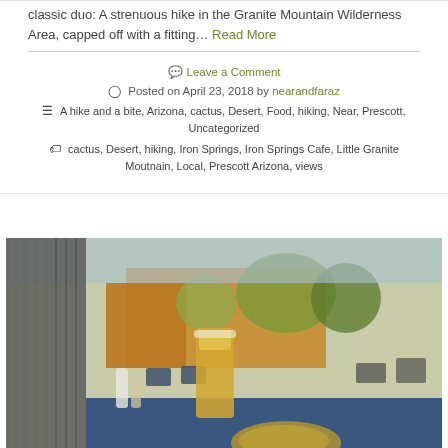classic duo: A strenuous hike in the Granite Mountain Wilderness Area, capped off with a fitting… Read More
💬 Leave a Comment
🕐 Posted on April 23, 2018 by nearandfaraz
☰ A hike and a bite, Arizona, cactus, Desert, Food, hiking, Near, Prescott, Uncategorized
🏷 cactus, Desert, hiking, Iron Springs, Iron Springs Cafe, Little Granite Moutnain, Local, Prescott Arizona, views
[Figure (photo): Outdoor patio of Iron Springs Cafe with beer glass in foreground, tables and chairs visible, buildings and trees in background]